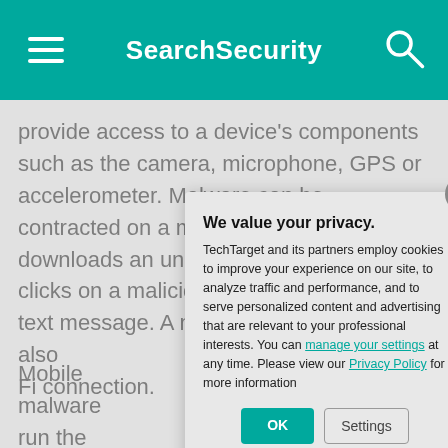SearchSecurity
provide access to a device's components such as the camera, microphone, GPS or accelerometer. Malware can be contracted on a mobile device if a user downloads an unofficial application or clicks on a malicious link from an email or text message. A mobile device can also Fi connection.
Mobile malware run the Android devices is usually Signs that an An include unusual dissipating batte being sent to the initial knowledge message from a
[Figure (screenshot): Cookie consent dialog with title 'We value your privacy.' containing text about TechTarget and partners using cookies, with links to 'manage your settings' and 'Privacy Policy', and OK and Settings buttons. A close (X) button is in the top-right corner.]